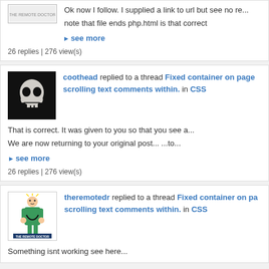Ok now I follow. I supplied a link to url but see no re... note that file ends php.html is that correct
see more
26 replies | 276 view(s)
coothead replied to a thread Fixed container on page scrolling text comments within. in CSS
That is correct. It was given to you so that you see a... We are now returning to your original post... ...to...
see more
26 replies | 276 view(s)
theremotedr replied to a thread Fixed container on pa scrolling text comments within. in CSS
Something isnt working see here...